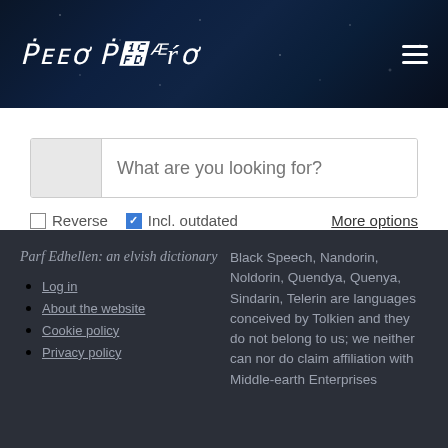Parf Edhellen [elvish logo]
[Figure (screenshot): Search input box with placeholder text 'What are you looking for?' with a grey icon area on the left]
Reverse  Incl. outdated  More options
Parf Edhellen: an elvish dictionary
Log in
About the website
Cookie policy
Privacy policy
Black Speech, Nandorin, Noldorin, Quendya, Quenya, Sindarin, Telerin are languages conceived by Tolkien and they do not belong to us; we neither can nor do claim affiliation with Middle-earth Enterprises